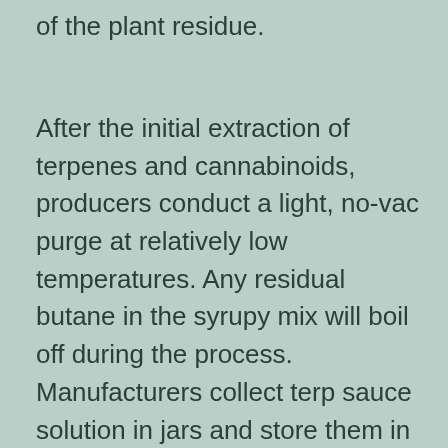of the plant residue.
After the initial extraction of terpenes and cannabinoids, producers conduct a light, no-vac purge at relatively low temperatures. Any residual butane in the syrupy mix will boil off during the process. Manufacturers collect terp sauce solution in jars and store them in a cool, dry, and dark place for several weeks to allow THCA crystals and terpene separation to occur. The strain, extraction technique, and other environmental variables all play a role in crystallization.